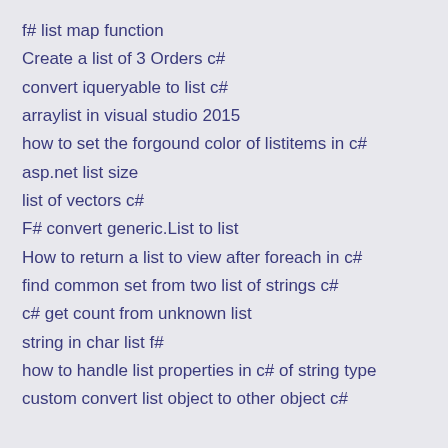f# list map function
Create a list of 3 Orders c#
convert iqueryable to list c#
arraylist in visual studio 2015
how to set the forgound color of listitems in c#
asp.net list size
list of vectors c#
F# convert generic.List to list
How to return a list to view after foreach in c#
find common set from two list of strings c#
c# get count from unknown list
string in char list f#
how to handle list properties in c# of string type
custom convert list object to other object c#